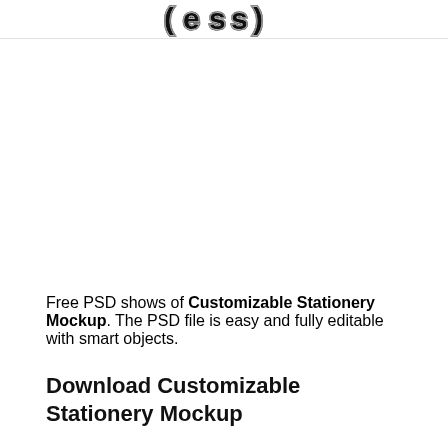(ess)
[Figure (illustration): Large blank/white area representing a stationery mockup image placeholder]
Free PSD shows of Customizable Stationery Mockup. The PSD file is easy and fully editable with smart objects.
Download Customizable Stationery Mockup